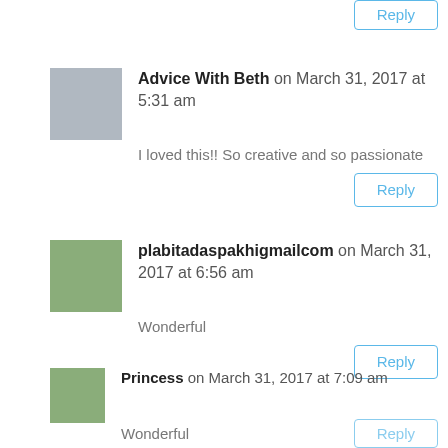[Figure (other): Partial Reply button at top right, cut off]
Advice With Beth on March 31, 2017 at 5:31 am
I loved this!! So creative and so passionate
Reply
plabitadaspakhigmailcom on March 31, 2017 at 6:56 am
Wonderful
Reply
Princess on March 31, 2017 at 7:09 am
Wonderful
[Figure (other): Partial Reply button at bottom right, cut off]